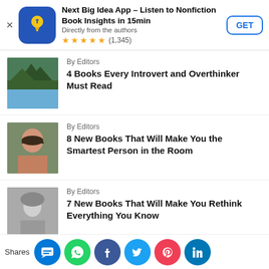[Figure (screenshot): Ad banner for Next Big Idea App showing app icon, title, subtitle, star rating and GET button]
By Editors
4 Books Every Introvert and Overthinker Must Read
By Editors
8 New Books That Will Make You the Smartest Person in the Room
By Editors
7 New Books That Will Make You Rethink Everything You Know
By Editors
Read These 7 Life-Changing Books to Reinvent Yourself
Shares